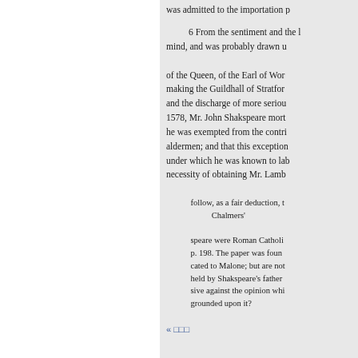was admitted to the importation p...
6 From the sentiment and the mind, and was probably drawn u...
of the Queen, of the Earl of Wor... making the Guildhall of Stratfor... and the discharge of more serious 1578, Mr. John Shakspeare mort... he was exempted from the contri... aldermen; and that this exception under which he was known to lab... necessity of obtaining Mr. Lamb...
follow, as a fair deduction, t... Chalmers'... speare were Roman Catholi... p. 198. The paper was foun... cated to Malone; but are not... held by Shakspeare's father... sive against the opinion whi... grounded upon it?
« □□□